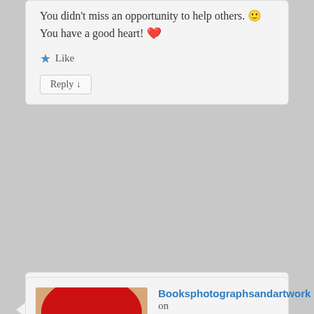You didn't miss an opportunity to help others. 🙂 You have a good heart! ❤
★ Like
Reply ↓
[Figure (photo): Avatar photo of a person with bright red hair and red lips, used as commenter profile picture]
Booksphotographsandartwork on 2012-12-18 at 00:18 said:
This makes my heart sing with joy!! This is how we are supposed to live life. You did a great thing. You really gave someone something that is so important. It wasn't even a big